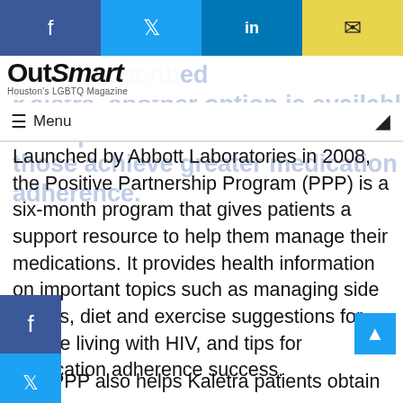[Figure (other): Top social sharing bar with Facebook, Twitter, LinkedIn, and email buttons]
OutSmart — Houston's LGBTQ Magazine
Menu (navigation bar with moon/dark mode icon)
Launched by Abbott Laboratories in 2008, the Positive Partnership Program (PPP) is a six-month program that gives patients a support resource to help them manage their medications. It provides health information on important topics such as managing side effects, diet and exercise suggestions for people living with HIV, and tips for medication adherence success.
The PPP also helps Kaletra patients obtain